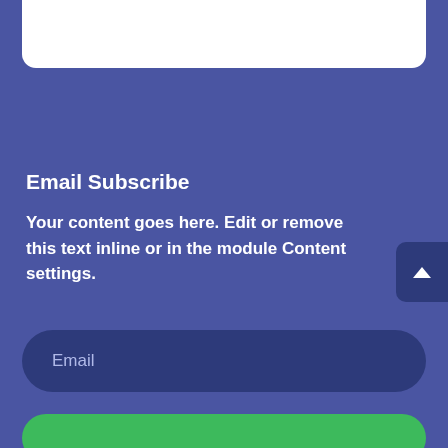[Figure (screenshot): Top white card partially visible at top of page, cropped]
Email Subscribe
Your content goes here. Edit or remove this text inline or in the module Content settings.
[Figure (other): Dark blue rounded scroll-to-top button with upward chevron arrow on right edge]
Email
[Figure (other): Green rounded submit button partially visible at bottom]